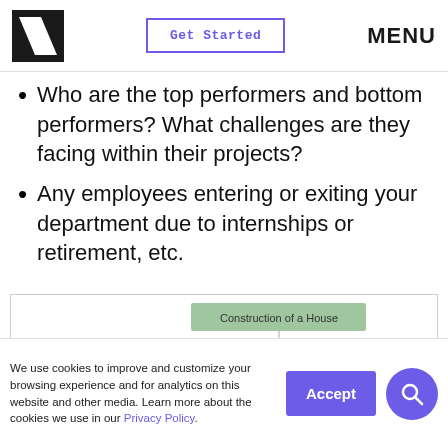Get Started | MENU
Who are the top performers and bottom performers? What challenges are they facing within their projects?
Any employees entering or exiting your department due to internships or retirement, etc.
[Figure (organizational-chart): Work Breakdown Structure diagram titled 'Construction of a House' showing Control Accounts branching into: 1. Internal (with 1.1 Electrical → 1.1.1 Rough In electrical), 2. Foundation (with 2.1 Excavate → 2.1.1 Pour Concrete), 3. External (with 3.1 Masonry Work → 3.1.1 Lay Masonry)]
We use cookies to improve and customize your browsing experience and for analytics on this website and other media. Learn more about the cookies we use in our Privacy Policy.